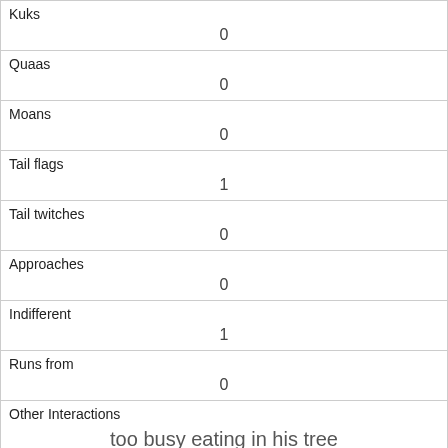| Kuks | 0 |
| Quaas | 0 |
| Moans | 0 |
| Tail flags | 1 |
| Tail twitches | 0 |
| Approaches | 0 |
| Indifferent | 1 |
| Runs from | 0 |
| Other Interactions | too busy eating in his tree |
| Lat/Long | POINT (-73.9756573579063 40.7656644063024) |